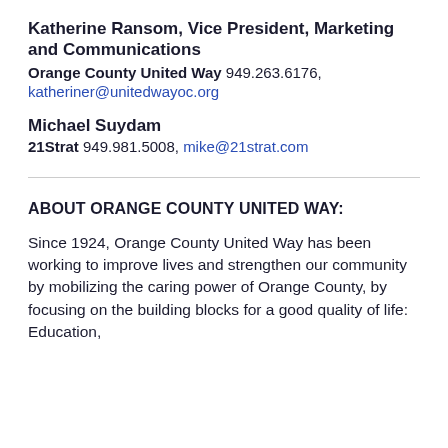Katherine Ransom, Vice President, Marketing and Communications
Orange County United Way 949.263.6176, katheriner@unitedwayoc.org
Michael Suydam
21Strat 949.981.5008, mike@21strat.com
ABOUT ORANGE COUNTY UNITED WAY:
Since 1924, Orange County United Way has been working to improve lives and strengthen our community by mobilizing the caring power of Orange County, by focusing on the building blocks for a good quality of life: Education,